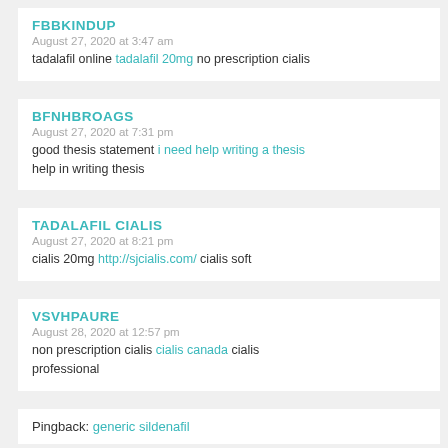FBBKINDUP
August 27, 2020 at 3:47 am
tadalafil online tadalafil 20mg no prescription cialis
BFNHBROAGS
August 27, 2020 at 7:31 pm
good thesis statement i need help writing a thesis help in writing thesis
TADALAFIL CIALIS
August 27, 2020 at 8:21 pm
cialis 20mg http://sjcialis.com/ cialis soft
VSVHPAURE
August 28, 2020 at 12:57 pm
non prescription cialis cialis canada cialis professional
Pingback: generic sildenafil